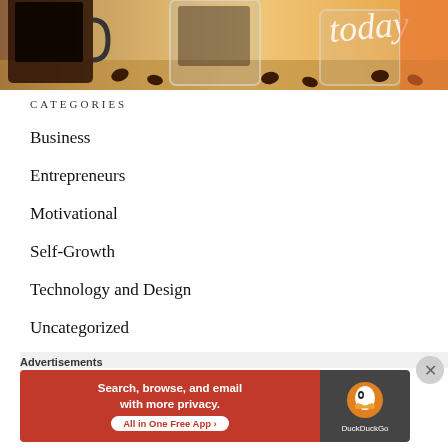[Figure (photo): Coffee mugs with dark coffee and coffee beans on a wooden surface, with cursive text overlay partially visible]
CATEGORIES
Business
Entrepreneurs
Motivational
Self-Growth
Technology and Design
Uncategorized
Advertisements
[Figure (screenshot): DuckDuckGo advertisement banner: Search, browse, and email with more privacy. All in One Free App]